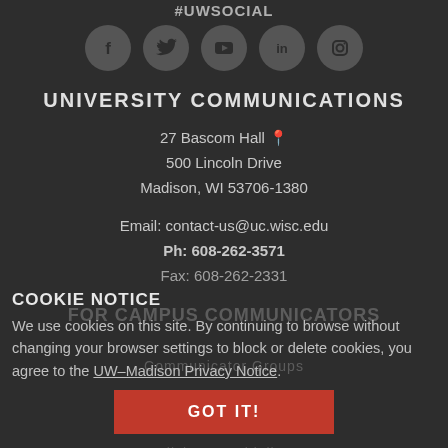#UWSOCIAL
[Figure (illustration): Five social media icon circles: Facebook, Twitter, YouTube, LinkedIn, Instagram]
UNIVERSITY COMMUNICATIONS
27 Bascom Hall 📍
500 Lincoln Drive
Madison, WI 53706-1380
Email: contact-us@uc.wisc.edu
Ph: 608-262-3571
Fax: 608-262-2331
COOKIE NOTICE
We use cookies on this site. By continuing to browse without changing your browser settings to block or delete cookies, you agree to the UW–Madison Privacy Notice.
FOR CAMPUS COMMUNICATORS
Communicator Groups
Photo Library
Editorial Style Guide
GOT IT!
Policies & Guidelines